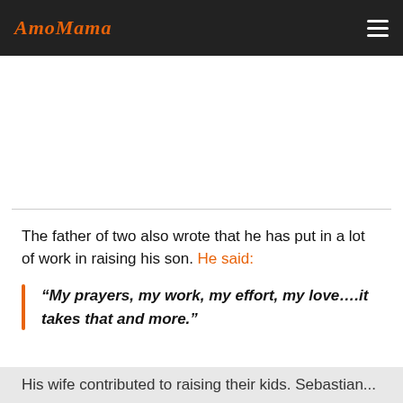AmoMama
The father of two also wrote that he has put in a lot of work in raising his son. He said:
“My prayers, my work, my effort, my love….it takes that and more.”
His wife contributed to raising their kids. Sebastian...